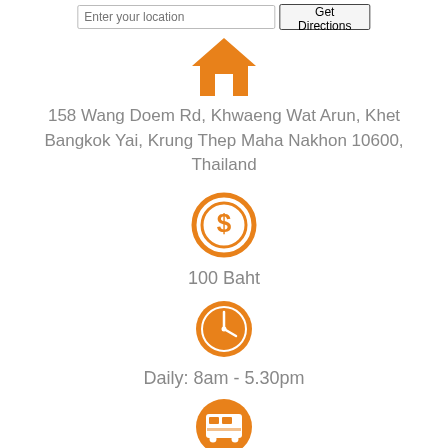[Figure (screenshot): Location input bar with 'Enter your location' text field and 'Get Directions' button]
[Figure (illustration): Orange house/home icon]
158 Wang Doem Rd, Khwaeng Wat Arun, Khet Bangkok Yai, Krung Thep Maha Nakhon 10600, Thailand
[Figure (illustration): Orange dollar sign coin icon in circle]
100 Baht
[Figure (illustration): Orange clock icon in filled circle]
Daily: 8am - 5.30pm
[Figure (illustration): Orange bus icon in filled circle]
National Stadium BTS (21 minutes drive)
[Figure (illustration): Orange telephone icon in filled circle (partially visible)]